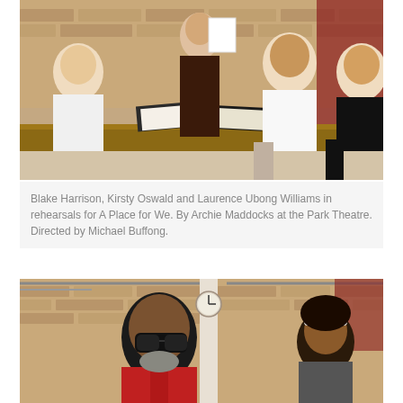[Figure (photo): Group of people sitting around a table in a rehearsal room with exposed brick walls. A woman stands holding papers while others are seated, with scripts and books on the table.]
Blake Harrison, Kirsty Oswald and Laurence Ubong Williams in rehearsals for A Place for We. By Archie Maddocks at the Park Theatre. Directed by Michael Buffong.
[Figure (photo): Two people in a rehearsal space with exposed brick walls. A man wearing large glasses and a red polo shirt stands in the foreground, and another person with curly hair and a headband is visible in the background.]